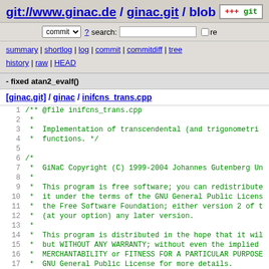git://www.ginac.de / ginac.git / blob
commit ? search: re
summary | shortlog | log | commit | commitdiff | tree history | raw | HEAD
- fixed atan2_evalf()
[ginac.git] / ginac / inifcns_trans.cpp
1  /** @file inifcns_trans.cpp
2   *
3   *  Implementation of transcendental (and trigonometric
4   *  functions. */
5
6  /*
7   *  GiNaC Copyright (C) 1999-2004 Johannes Gutenberg Un
8   *
9   *  This program is free software; you can redistribute
10  *  it under the terms of the GNU General Public Licens
11  *  the Free Software Foundation; either version 2 of t
12  *  (at your option) any later version.
13  *
14  *  This program is distributed in the hope that it wil
15  *  but WITHOUT ANY WARRANTY; without even the implied
16  *  MERCHANTABILITY or FITNESS FOR A PARTICULAR PURPOSE
17  *  GNU General Public License for more details.
18  *
19  *  You should have received a copy of the GNU General